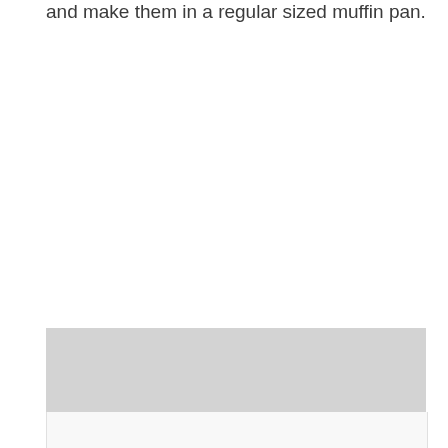and make them in a regular sized muffin pan.
[Figure (photo): Photo of muffins in a regular sized muffin pan, partially visible with gray background placeholder]
[Figure (photo): Bottom portion of photo with white/light background, continuation of muffin image]